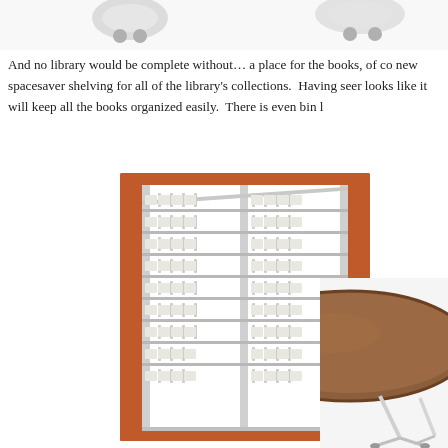[Figure (photo): Partial view of furniture items (chair/stool wheels) at the top of the page, cropped]
And no library would be complete without… a place for the books, of co new spacesaver shelving for all of the library's collections.  Having seer looks like it will keep all the books organized easily.  There is even bin l
[Figure (photo): Library spacesaver shelving unit with orange/red sides and multiple white metal slanted shelves with book dividers]
[Figure (photo): Partial view of a round wooden table top on white pedestal legs, cropped at right edge]